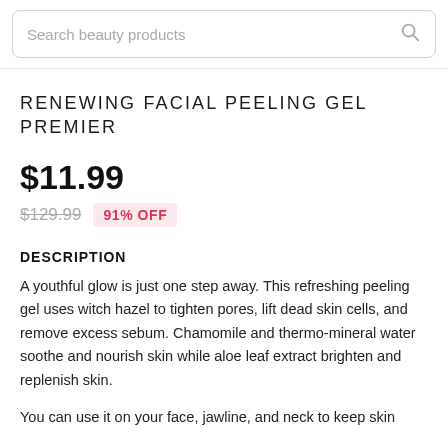Search beauty products
RENEWING FACIAL PEELING GEL PREMIER
$11.99
$129.99  91% OFF
DESCRIPTION
A youthful glow is just one step away. This refreshing peeling gel uses witch hazel to tighten pores, lift dead skin cells, and remove excess sebum. Chamomile and thermo-mineral water soothe and nourish skin while aloe leaf extract brighten and replenish skin.
You can use it on your face, jawline, and neck to keep skin